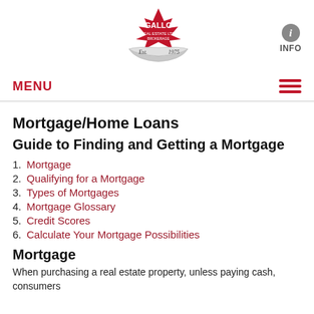[Figure (logo): Gallo Real Estate Ltd. Brokerage logo with red maple leaf and Est. 1975 banner]
[Figure (infographic): Circle info button icon with letter i and INFO label below]
MENU ☰
Mortgage/Home Loans
Guide to Finding and Getting a Mortgage
1. Mortgage
2. Qualifying for a Mortgage
3. Types of Mortgages
4. Mortgage Glossary
5. Credit Scores
6. Calculate Your Mortgage Possibilities
Mortgage
When purchasing a real estate property, unless paying cash, consumers